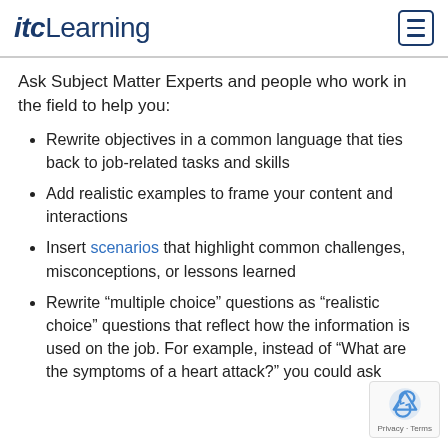itcLearning
Ask Subject Matter Experts and people who work in the field to help you:
Rewrite objectives in a common language that ties back to job-related tasks and skills
Add realistic examples to frame your content and interactions
Insert scenarios that highlight common challenges, misconceptions, or lessons learned
Rewrite “multiple choice” questions as “realistic choice” questions that reflect how the information is used on the job. For example, instead of “What are the symptoms of a heart attack?” you could ask